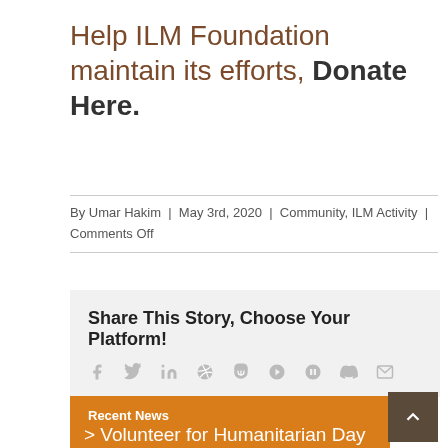Help ILM Foundation maintain its efforts, Donate Here.
By Umar Hakim | May 3rd, 2020 | Community, ILM Activity | Comments Off
Share This Story, Choose Your Platform!
[Figure (other): Social media sharing icons: facebook, twitter, linkedin, reddit, tumblr, google+, pinterest, vk, email]
Recent News
> Volunteer for Humanitarian Day